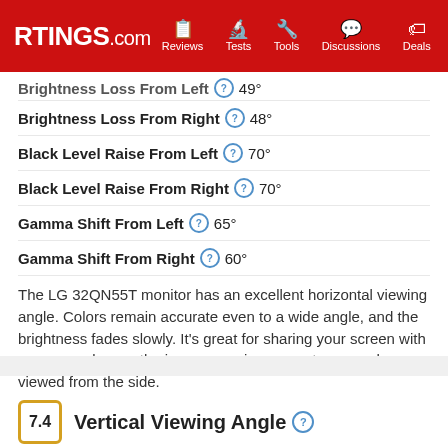RTINGS.com | Reviews | Tests | Tools | Discussions | Deals
Brightness Loss From Left  49°
Brightness Loss From Right  48°
Black Level Raise From Left  70°
Black Level Raise From Right  70°
Gamma Shift From Left  65°
Gamma Shift From Right  60°
The LG 32QN55T monitor has an excellent horizontal viewing angle. Colors remain accurate even to a wide angle, and the brightness fades slowly. It's great for sharing your screen with someone else, as the image remains accurate even when viewed from the side.
LEARN ABOUT HORIZONTAL VIEWING ANGLE
7.4  Vertical Viewing Angle